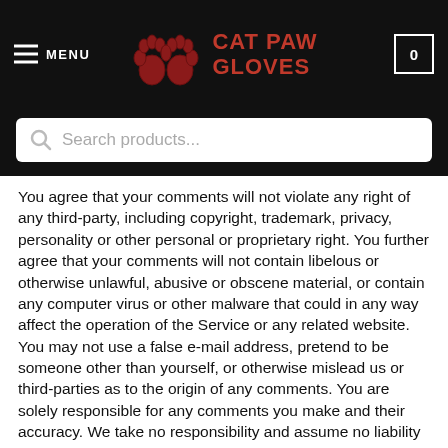MENU | CAT PAW GLOVES | 0
Search products...
You agree that your comments will not violate any right of any third-party, including copyright, trademark, privacy, personality or other personal or proprietary right. You further agree that your comments will not contain libelous or otherwise unlawful, abusive or obscene material, or contain any computer virus or other malware that could in any way affect the operation of the Service or any related website. You may not use a false e-mail address, pretend to be someone other than yourself, or otherwise mislead us or third-parties as to the origin of any comments. You are solely responsible for any comments you make and their accuracy. We take no responsibility and assume no liability for any comments posted by you or any third-party.